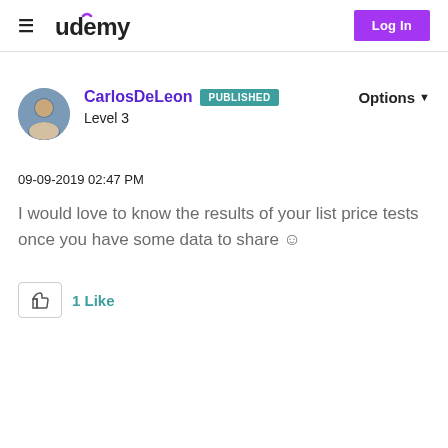Udemy  Log In
CarlosDeLeon  PUBLISHED
Level 3
Options
09-09-2019 02:47 PM
I would love to know the results of your list price tests once you have some data to share ☺
1 Like